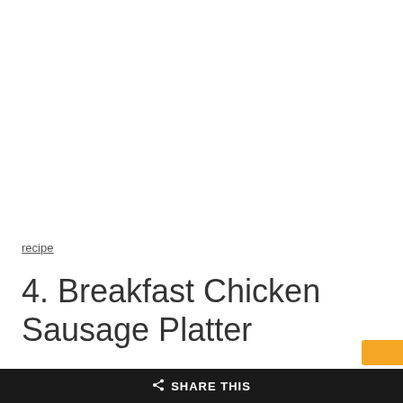recipe
4. Breakfast Chicken Sausage Platter
◄ SHARE THIS